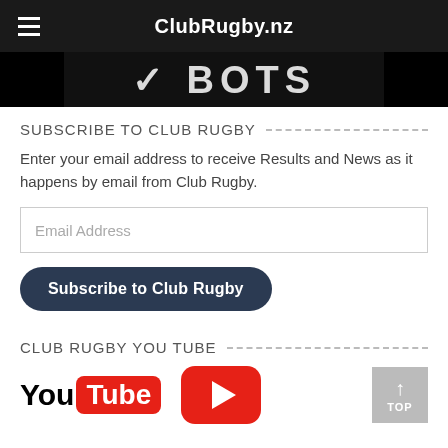ClubRugby.nz
[Figure (screenshot): Dark banner with large bold stylized white logo text on dark background]
SUBSCRIBE TO CLUB RUGBY
Enter your email address to receive Results and News as it happens by email from Club Rugby.
Email Address
Subscribe to Club Rugby
CLUB RUGBY YOU TUBE
[Figure (logo): YouTube logo with 'You' in black and 'Tube' in white on red rounded rectangle, followed by red play button icon, and a grey 'TOP' button with arrow]